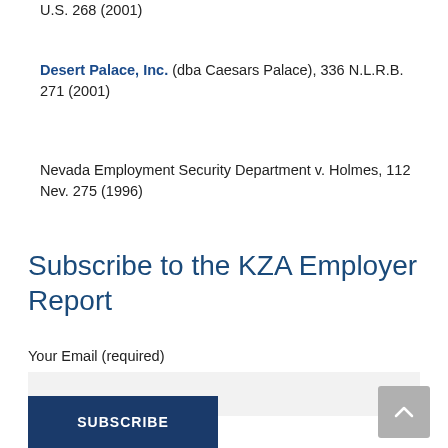U.S. 268 (2001)
Desert Palace, Inc. (dba Caesars Palace), 336 N.L.R.B. 271 (2001)
Nevada Employment Security Department v. Holmes, 112 Nev. 275 (1996)
Subscribe to the KZA Employer Report
Your Email (required)